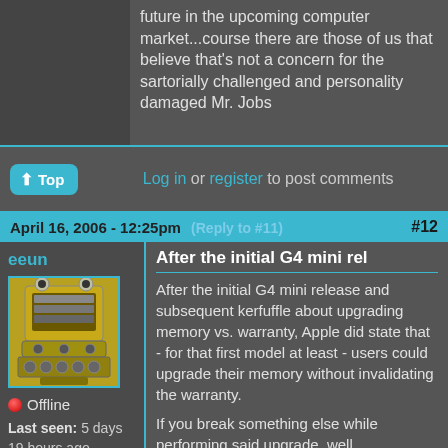future in the upcoming computer market...course there are those of us that believe that's not a concern for the sartorially challenged and personality damaged Mr. Jobs
Log in or register to post comments
April 16, 2006 - 12:25pm (Reply to #11) #12
eeun
[Figure (photo): Avatar image of a Dalek robot figure]
Offline
Last seen: 5 days 19 hours ago
Joined: Dec 19
After the initial G4 mini rel
After the initial G4 mini release and subsequent kerfuffle about upgrading memory vs. warranty, Apple did state that - for that first model at least - users could upgrade their memory without invalidating the warranty.
If you break something else while performing said upgrade, well